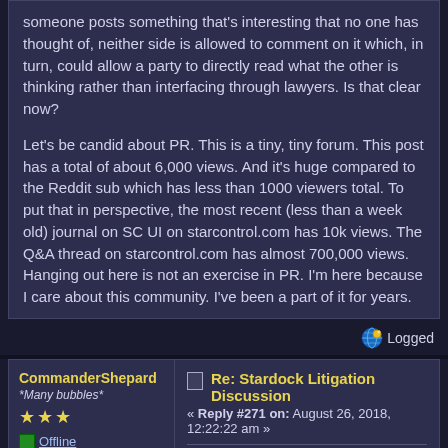someone posts something that's interesting that no one has thought of, neither side is allowed to comment on it which, in turn, could allow a party to directly read what the other is thinking rather than interfacing through lawyers. Is that clear now?

Let's be candid about PR.  This is a tiny, tiny forum.  This post has a total of about 6,000 views.  And it's huge compared to the Reddit sub which has less than 1000 viewers total.  To put that in perspective, the most recent (less than a week old) journal on SC UI on starcontrol.com has 10k views.  The Q&A thread on starcontrol.com has almost 700,000 views.  Hanging out here is not an exercise in PR.  I'm here because I care about this community. I've been a part of it for years.
Logged
CommanderShepard
*Many bubbles*
Offline
Posts: 111
Re: Stardock Litigation Discussion
« Reply #271 on: August 26, 2018, 12:22:22 am »
Quote from: Frogboy on August 26, 2018, 12:04:57 am
Hanging out here is not an exercise in PR.
Isn't it true that;

A: You personally corresponded with